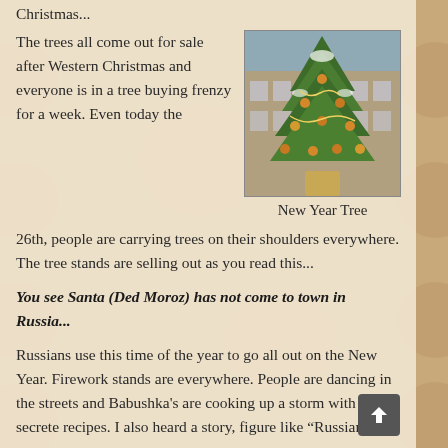Christmas...
The trees all come out for sale after Western Christmas and everyone is in a tree buying frenzy for a week. Even today the 26th, people are carrying trees on their shoulders everywhere. The tree stands are selling out as you read this...
[Figure (photo): Photograph of a decorated Christmas/New Year tree with lights and ornaments, in front of a building]
New Year Tree
You see Santa (Ded Moroz) has not come to town in Russia...
Russians use this time of the year to go all out on the New Year. Firework stands are everywhere. People are dancing in the streets and Babushka’s are cooking up a storm with their secrete recipes. I also heard a story, figure like “Russian...